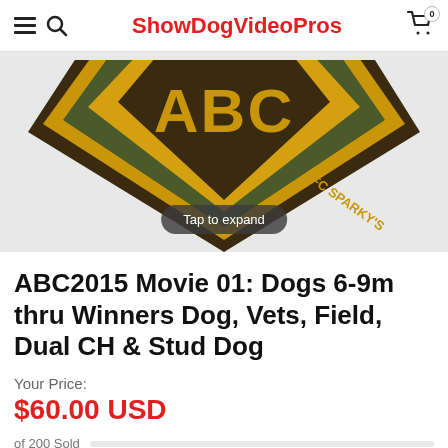ShowDogVideoPros
[Figure (logo): ABC club badge/shield logo with golden yellow border, dark background, letters ABC and text FC SPARKY'S visible, partially cropped, with a 'Tap to expand' overlay button]
ABC2015 Movie 01: Dogs 6-9m thru Winners Dog, Vets, Field, Dual CH & Stud Dog
Your Price:
$60.00 USD
of 200 Sold